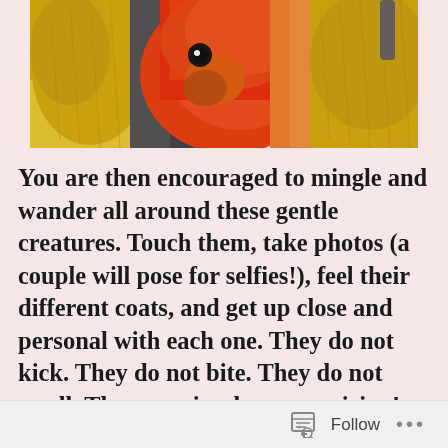[Figure (photo): Close-up photo of colorful birds (parrots/macaws) showing yellow, red, and orange feathers]
You are then encouraged to mingle and wander all around these gentle creatures. Touch them, take photos (a couple will pose for selfies!), feel their different coats, and get up close and personal with each one. They do not kick. They do not bite. They do not smell. They are simply mesmerizing!
[Figure (photo): Photo of white and yellow bird feathers against a dark background with wooden wall]
Follow ...